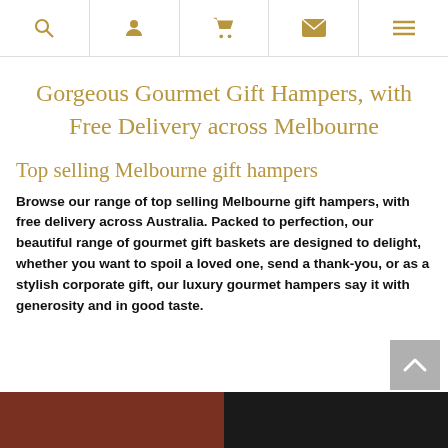Navigation bar with search, account, cart, email, and menu icons
Gorgeous Gourmet Gift Hampers, with Free Delivery across Melbourne
Top selling Melbourne gift hampers
Browse our range of top selling Melbourne gift hampers, with free delivery across Australia. Packed to perfection, our beautiful range of gourmet gift baskets are designed to delight, whether you want to spoil a loved one, send a thank-you, or as a stylish corporate gift, our luxury gourmet hampers say it with generosity and in good taste.
[Figure (screenshot): Two product thumbnails partially visible at the bottom of the page]
[Figure (other): Back to top arrow button]